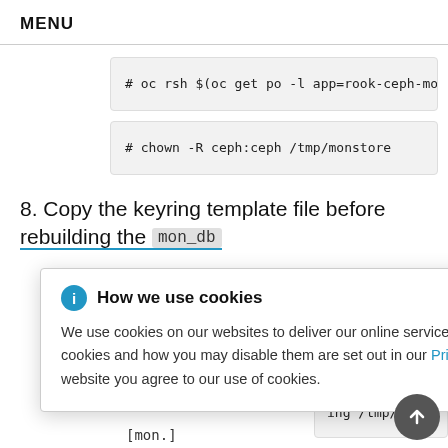MENU
# oc rsh $(oc get po -l app=rook-ceph-mon,m
# chown -R ceph:ceph /tmp/monstore
8. Copy the keyring template file before rebuilding the mon_db
How we use cookies
We use cookies on our websites to deliver our online services. Details about how we use cookies and how you may disable them are set out in our Privacy Statement. By using this website you agree to our use of cookies.